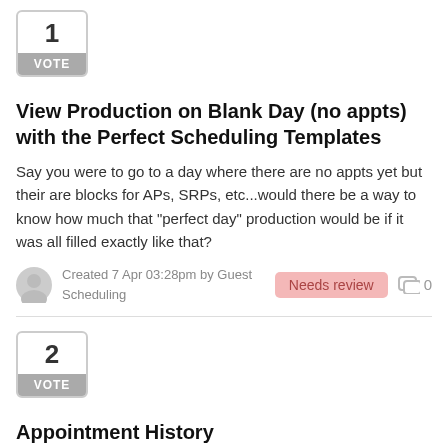[Figure (other): Vote box showing number 1 with VOTE label]
View Production on Blank Day (no appts) with the Perfect Scheduling Templates
Say you were to go to a day where there are no appts yet but their are blocks for APs, SRPs, etc...would there be a way to know how much that "perfect day" production would be if it was all filled exactly like that?
Created 7 Apr 03:28pm by Guest
Scheduling
Needs review
0
[Figure (other): Vote box showing number 2 with VOTE label]
Appointment History
It would be nice if there was a way we could see an appointments history, for example how many times the appointment has been moved and who moved it. It would be nice if you were able to look